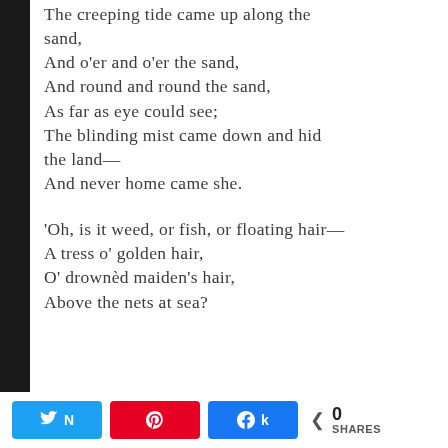The creeping tide came up along the sand,
And o'er and o'er the sand,
And round and round the sand,
As far as eye could see;
The blinding mist came down and hid the land—
And never home came she.

'Oh, is it weed, or fish, or floating hair—
A tress o' golden hair,
O' drownèd maiden's hair,
Above the nets at sea?
0 SHARES